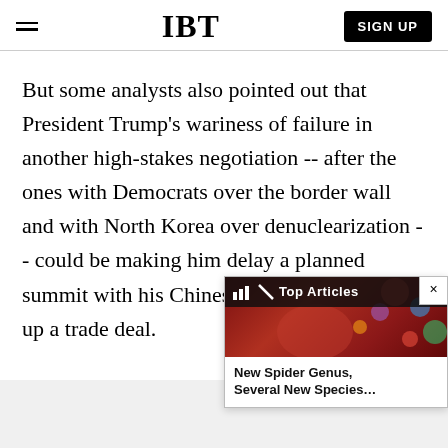IBT | SIGN UP
But some analysts also pointed out that President Trump's wariness of failure in another high-stakes negotiation -- after the ones with Democrats over the border wall and with North Korea over denuclearization -- could be making him delay a planned summit with his Chinese counterpart to stitch up a trade deal.
[Figure (screenshot): An embedded video/article widget overlay showing a bar chart icon, 'Top Articles' label, close button (×), a colorful background image, and caption reading 'New Spider Genus, Several New Species...']